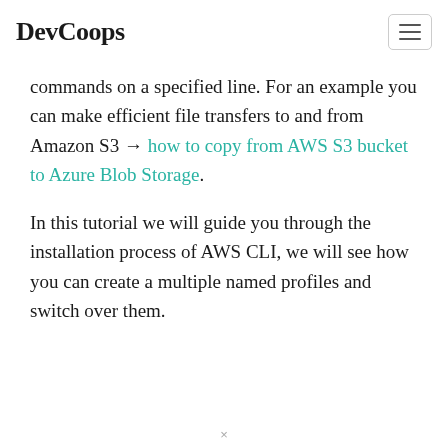DevCoops
commands on a specified line. For an example you can make efficient file transfers to and from Amazon S3 → how to copy from AWS S3 bucket to Azure Blob Storage.
In this tutorial we will guide you through the installation process of AWS CLI, we will see how you can create a multiple named profiles and switch over them.